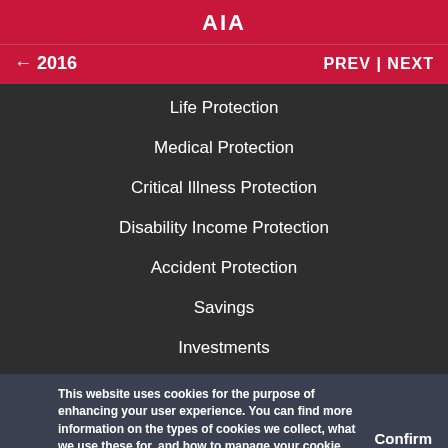AIA
← 2016    PREV | NEXT
Life Protection
Medical Protection
Critical Illness Protection
Disability Income Protection
Accident Protection
Savings
Investments
This website uses cookies for the purpose of enhancing your user experience. You can find more information on the types of cookies we collect, what we use these for, and how to manage your cookie settings in our Cookie Policy and AIA Personal Data Policy (Singapore).
EXPLORE AIA    USEFUL LINKS